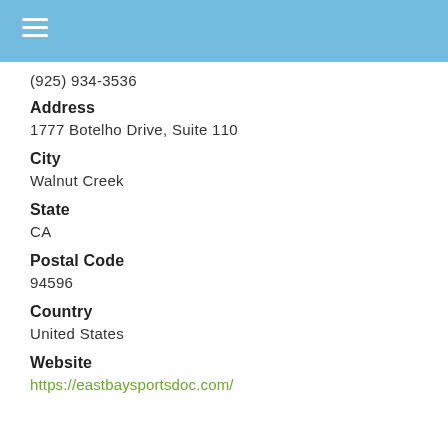(925) 934-3536
Address
1777 Botelho Drive, Suite 110
City
Walnut Creek
State
CA
Postal Code
94596
Country
United States
Website
https://eastbaysportsdoc.com/